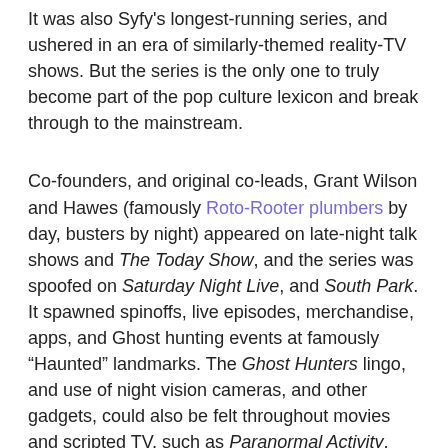It was also Syfy's longest-running series, and ushered in an era of similarly-themed reality-TV shows. But the series is the only one to truly become part of the pop culture lexicon and break through to the mainstream.
Co-founders, and original co-leads, Grant Wilson and Hawes (famously Roto-Rooter plumbers by day, busters by night) appeared on late-night talk shows and The Today Show, and the series was spoofed on Saturday Night Live, and South Park.
It spawned spinoffs, live episodes, merchandise, apps, and Ghost hunting events at famously “Haunted” landmarks. The Ghost Hunters lingo, and use of night vision cameras, and other gadgets, could also be felt throughout movies and scripted TV, such as Paranormal Activity, The Conjuring, and Supernatural, among others.